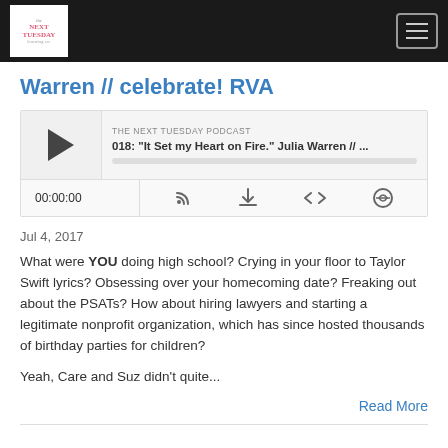The Next Tuesday Podcast — navigation header
Warren // celebrate! RVA
[Figure (screenshot): Podcast audio player widget for episode 018: "It Set my Heart on Fire." Julia Warren // ... showing play button, episode info, progress bar, time display 00:00:00, and control icons (subscribe, download, embed, share)]
Jul 4, 2017
What were YOU doing high school?  Crying in your floor to Taylor Swift lyrics? Obsessing over your homecoming date? Freaking out about the PSATs? How about hiring lawyers and starting a legitimate nonprofit organization, which has since hosted thousands of birthday parties for children?
Yeah, Care and Suz didn't quite...
Read More